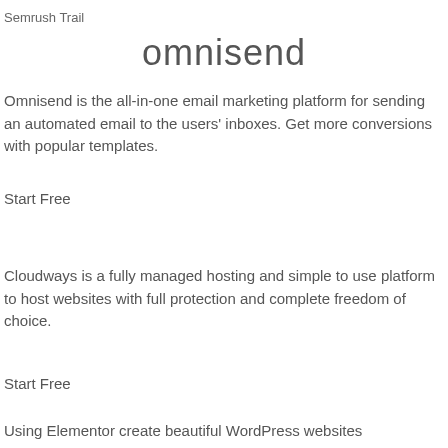Semrush Trail
omnisend
Omnisend is the all-in-one email marketing platform for sending an automated email to the users' inboxes. Get more conversions with popular templates.
Start Free
Cloudways is a fully managed hosting and simple to use platform to host websites with full protection and complete freedom of choice.
Start Free
Using Elementor create beautiful WordPress websites